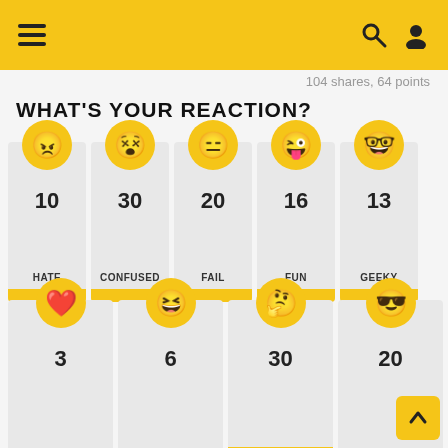Navigation header with menu, search, and profile icons
104 shares, 64 points
WHAT'S YOUR REACTION?
[Figure (infographic): Reaction emoji cards row 1: HATE(10), CONFUSED(30), FAIL(20), FUN(16), GEEKY(13)]
[Figure (infographic): Reaction emoji cards row 2: LOVE(3), LOL(6), WTF(30), COOL(20)]